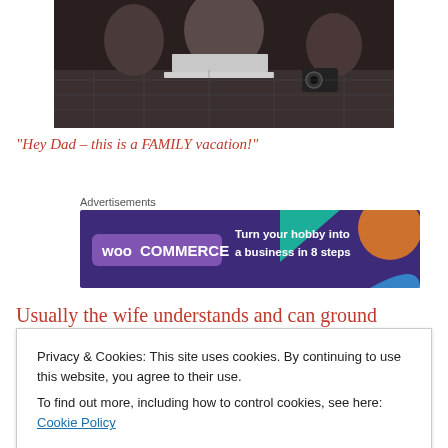[Figure (photo): Photo of people sitting around a table with a laptop, on a checkered tablecloth, with a camera visible.]
“Hey Dad – this is a FAMILY vacation!”
[Figure (other): WooCommerce advertisement banner: 'Turn your hobby into a business in 8 steps' on purple background with geometric shapes.]
Advertisements
Usually the wife understands and can ground herself with a self-indulgent, if thoroughly deserving roll of the eyes
Privacy & Cookies: This site uses cookies. By continuing to use this website, you agree to their use.
To find out more, including how to control cookies, see here: Cookie Policy
Close and accept